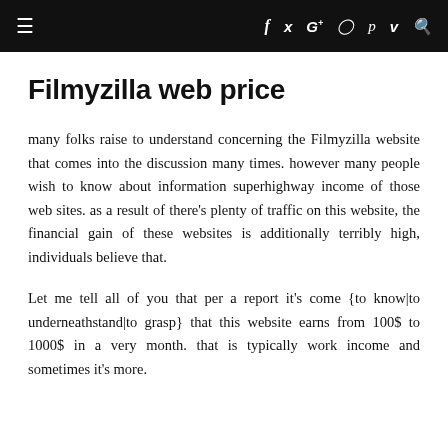≡  f  t  G+  ◻  p  v  🔍
Filmyzilla web price
many folks raise to understand concerning the Filmyzilla website that comes into the discussion many times. however many people wish to know about information superhighway income of those web sites. as a result of there's plenty of traffic on this website, the financial gain of these websites is additionally terribly high, individuals believe that.
Let me tell all of you that per a report it's come {to know|to underneathstand|to grasp} that this website earns from 100$ to 1000$ in a very month. that is typically work income and sometimes it's more.